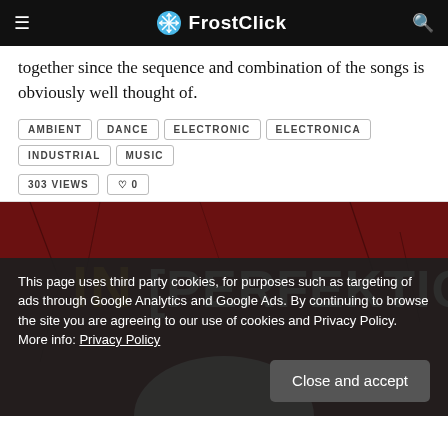FrostClick
together since the sequence and combination of the songs is obviously well thought of.
AMBIENT
DANCE
ELECTRONIC
ELECTRONICA
INDUSTRIAL
MUSIC
303 VIEWS   ♡ 0
[Figure (photo): Album art showing 'IN [PERFEKTION]' text on a dark red/crimson cracked background with a circular element below]
This page uses third party cookies, for purposes such as targeting of ads through Google Analytics and Google Ads. By continuing to browse the site you are agreeing to our use of cookies and Privacy Policy. More info: Privacy Policy
Close and accept